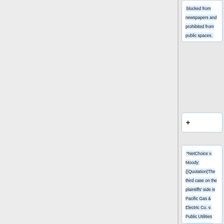blocked from newspapers and prohibited from public spaces.
+
*NetChoice v. Moody: {{Quotation|The third case on the plaintiffs' side is Pacific Gas & Electric Co. v. Public Utilities Commission of California, 475 U.S. 1 (1986). There a public utility included in its billing envelopes its